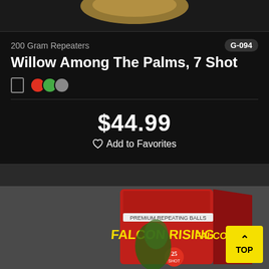[Figure (photo): Top portion of a fireworks product image, cropped at the top of the page]
200 Gram Repeaters
G-094
Willow Among The Palms, 7 Shot
$44.99
Add to Favorites
[Figure (photo): Falcon Rising 25-shot fireworks product box with red and yellow design, showing dragon/falcon imagery]